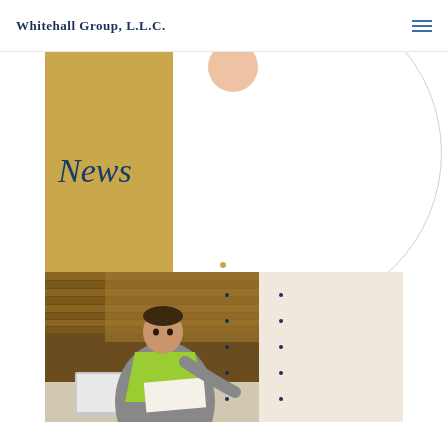Whitehall Group, L.L.C.
News
[Figure (photo): Worker in yellow safety vest leaning over laptop on a desk, with stacks of wood/cardboard material in the background. Business professional in warehouse/industrial setting.]